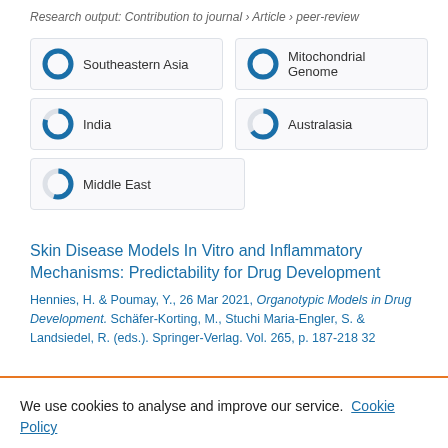Research output: Contribution to journal › Article › peer-review
[Figure (other): Five badge-style indicators with donut/circle icons and labels: Southeastern Asia (100%), Mitochondrial Genome (100%), India (~80%), Australasia (~65%), Middle East (~55%)]
Skin Disease Models In Vitro and Inflammatory Mechanisms: Predictability for Drug Development
Hennies, H. & Poumay, Y., 26 Mar 2021, Organotypic Models in Drug Development. Schäfer-Korting, M., Stuchi Maria-Engler, S. & Landsiedel, R. (eds.). Springer-Verlag. Vol. 265, p. 187-218 32
We use cookies to analyse and improve our service. Cookie Policy
Cookies Settings
Accept All Cookies